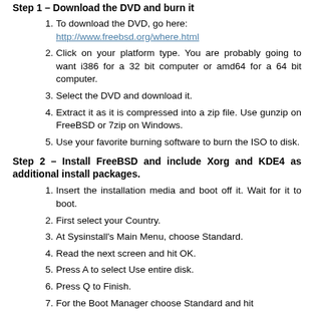Step 1 – Download the DVD and burn it
To download the DVD, go here: http://www.freebsd.org/where.html
Click on your platform type. You are probably going to want i386 for a 32 bit computer or amd64 for a 64 bit computer.
Select the DVD and download it.
Extract it as it is compressed into a zip file. Use gunzip on FreeBSD or 7zip on Windows.
Use your favorite burning software to burn the ISO to disk.
Step 2 – Install FreeBSD and include Xorg and KDE4 as additional install packages.
Insert the installation media and boot off it. Wait for it to boot.
First select your Country.
At Sysinstall's Main Menu, choose Standard.
Read the next screen and hit OK.
Press A to select Use entire disk.
Press Q to Finish.
For the Boot Manager choose Standard and hit